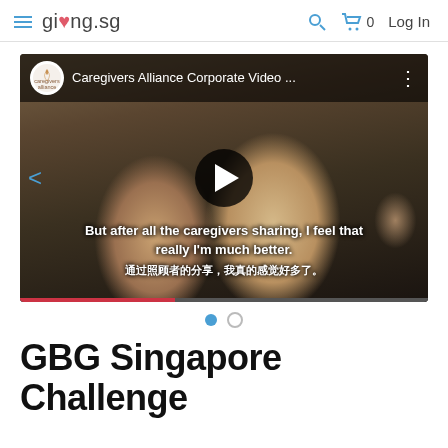giving.sg — Log In
[Figure (screenshot): YouTube-style video player thumbnail showing Caregivers Alliance Corporate Video with two women in photo, play button overlay, subtitles reading 'But after all the caregivers sharing, I feel that really I'm much better.' and Chinese translation]
● ○
GBG Singapore Challenge